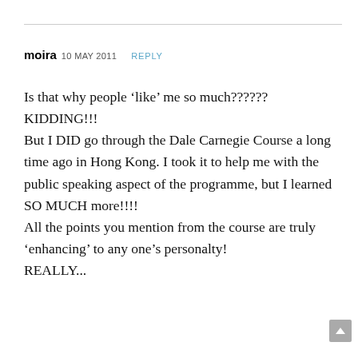moira 10 MAY 2011 REPLY
Is that why people ‘like’ me so much?????? KIDDING!!!
But I DID go through the Dale Carnegie Course a long time ago in Hong Kong. I took it to help me with the public speaking aspect of the programme, but I learned SO MUCH more!!!!
All the points you mention from the course are truly ‘enhancing’ to any one’s personalty! REALLY...